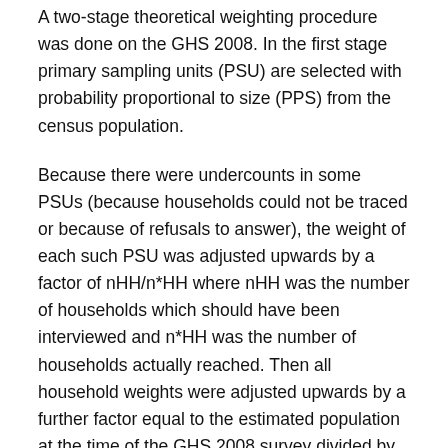A two-stage theoretical weighting procedure was done on the GHS 2008. In the first stage primary sampling units (PSU) are selected with probability proportional to size (PPS) from the census population.
Because there were undercounts in some PSUs (because households could not be traced or because of refusals to answer), the weight of each such PSU was adjusted upwards by a factor of nHH/n*HH where nHH was the number of households which should have been interviewed and n*HH was the number of households actually reached. Then all household weights were adjusted upwards by a further factor equal to the estimated population at the time of the GHS 2008 survey divided by the 1996 Census population estimate, to